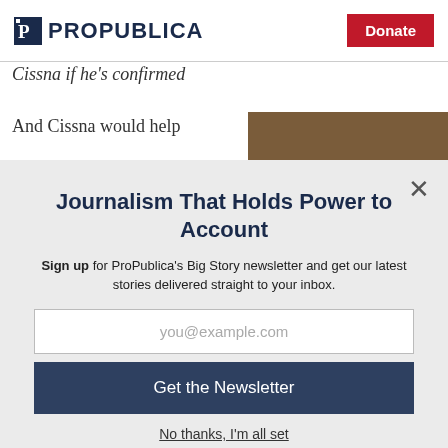ProPublica | Donate
Cissna if he's confirmed
And Cissna would help
[Figure (photo): Partial photo visible in upper right behind modal overlay]
Journalism That Holds Power to Account
Sign up for ProPublica's Big Story newsletter and get our latest stories delivered straight to your inbox.
you@example.com
Get the Newsletter
No thanks, I'm all set
This site is protected by reCAPTCHA and the Google Privacy Policy and Terms of Service apply.